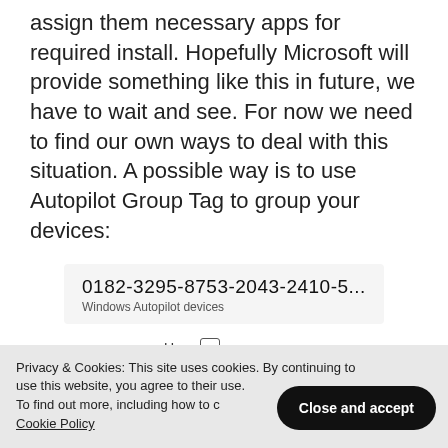assign them necessary apps for required install. Hopefully Microsoft will provide something like this in future, we have to wait and see. For now we need to find our own ways to deal with this situation. A possible way is to use Autopilot Group Tag to group your devices:
[Figure (screenshot): Windows Autopilot device card showing serial number 0182-3295-8753-2043-2410-5..., User field with info icon showing 'unassigned', and partially visible Serial number and Model fields]
Privacy & Cookies: This site uses cookies. By continuing to use this website, you agree to their use.
To find out more, including how to c… Cookie Policy